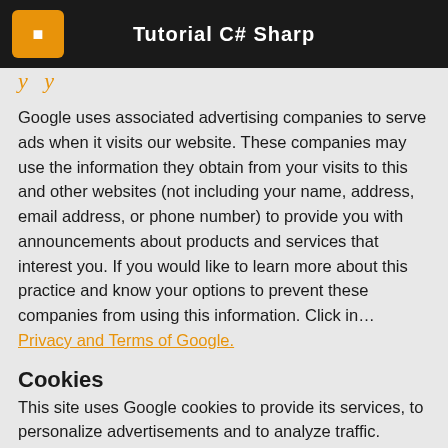Tutorial C# Sharp
y  y
Google uses associated advertising companies to serve ads when it visits our website. These companies may use the information they obtain from your visits to this and other websites (not including your name, address, email address, or phone number) to provide you with announcements about products and services that interest you. If you would like to learn more about this practice and know your options to prevent these companies from using this information. Click in... Privacy and Terms of Google.
Cookies
This site uses Google cookies to provide its services, to personalize advertisements and to analyze traffic. Google receives information about your use of this website. More information in... Privacy and Terms of Google.